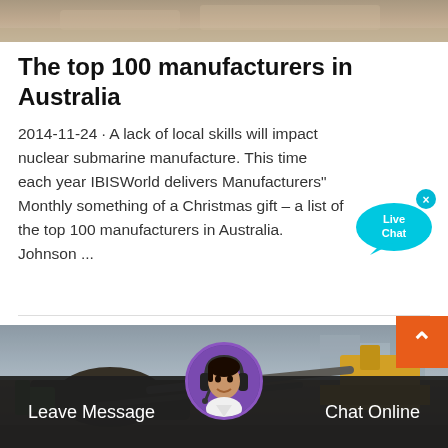[Figure (photo): Top cropped image showing a sandy/dusty surface, partial construction or industrial scene]
The top 100 manufacturers in Australia
2014-11-24 · A lack of local skills will impact nuclear submarine manufacture. This time each year IBISWorld delivers Manufacturers" Monthly something of a Christmas gift – a list of the top 100 manufacturers in Australia. Johnson ...
[Figure (photo): Industrial mining/quarrying scene with heavy machinery, conveyor belts and excavators in a dusty outdoor environment]
[Figure (infographic): Live Chat speech bubble widget in cyan/blue color with 'Live Chat' text and an 'x' close button]
[Figure (screenshot): Bottom chat bar with Leave Message on left, Chat Online on right, female customer service agent avatar in center, and orange back-to-top arrow button on bottom right]